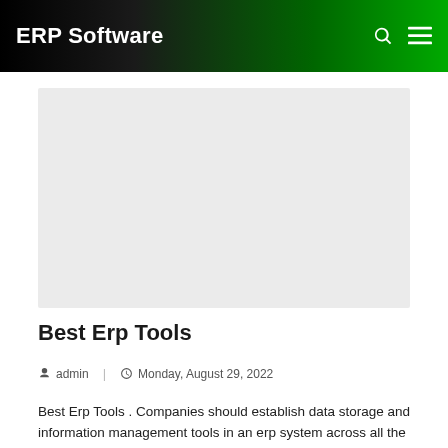ERP Software
[Figure (photo): Featured image placeholder — light gray rectangle]
Best Erp Tools
admin  |  Monday, August 29, 2022
Best Erp Tools . Companies should establish data storage and information management tools in an erp system across all the